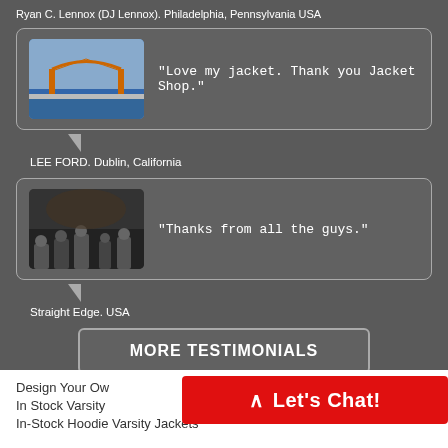Ryan C. Lennox (DJ Lennox). Philadelphia, Pennsylvania USA
"Love my jacket. Thank you Jacket Shop."
LEE FORD. Dublin, California
"Thanks from all the guys."
Straight Edge. USA
MORE TESTIMONIALS
Design Your Ow
In Stock Varsity
In-Stock Hoodie Varsity Jackets
Let's Chat!